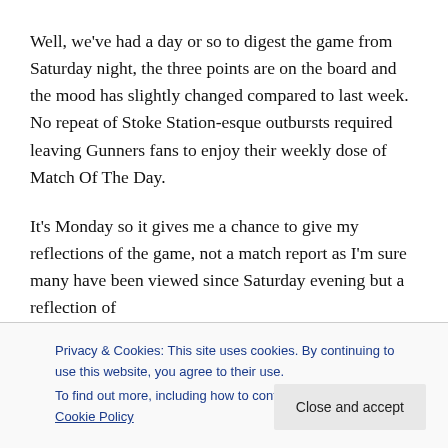Well, we've had a day or so to digest the game from Saturday night, the three points are on the board and the mood has slightly changed compared to last week. No repeat of Stoke Station-esque outbursts required leaving Gunners fans to enjoy their weekly dose of Match Of The Day.
It's Monday so it gives me a chance to give my reflections of the game, not a match report as I'm sure many have been viewed since Saturday evening but a reflection of
Privacy & Cookies: This site uses cookies. By continuing to use this website, you agree to their use.
To find out more, including how to control cookies, see here: Cookie Policy
Close and accept